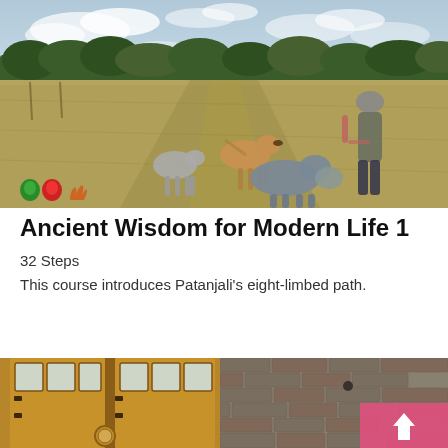[Figure (photo): A person walking with several dogs in an open grassy field at dusk with a cloudy sky. Small coloured icons (green, red, orange flame/leaf shapes) visible in lower left corner of the photo.]
Ancient Wisdom for Modern Life 1
32 Steps
This course introduces Patanjali's eight-limbed path.
[Figure (photo): Bottom portion of a photo showing large wooden barn doors with glass panels at the top, and a stone brick wall to the right with a pink/red block graphic overlay featuring an upward arrow.]